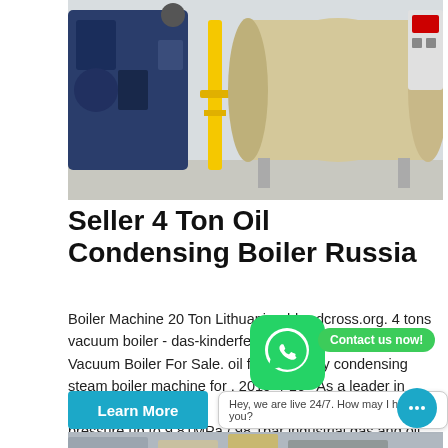[Figure (photo): Industrial oil condensing boiler machinery in a facility, showing blue burner unit on the left, yellow gas pipe in the center, and large cylindrical boiler tank on the right]
Seller 4 Ton Oil Condensing Boiler Russia
Boiler Machine 20 Ton Lithuania - hhredcross.org. 4 tons vacuum boiler - das-kinderferienhaus. industrial 0 5 Ton Vacuum Boiler For Sale. oil fired industry condensing steam boiler machine for . 2019-4-16 · As a leader in industrial boiler manufacturers Zozen offers 1-130 ton with pressure up to 9.81MPa / 98.1bar industrial gas and oil steam
[Figure (photo): Partial view of another industrial boiler or machinery at the bottom of the page]